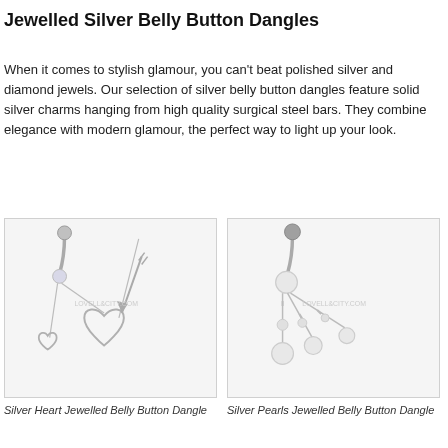Jewelled Silver Belly Button Dangles
When it comes to stylish glamour, you can't beat polished silver and diamond jewels. Our selection of silver belly button dangles feature solid silver charms hanging from high quality surgical steel bars. They combine elegance with modern glamour, the perfect way to light up your look.
[Figure (photo): Silver Heart Jewelled Belly Button Dangle showing two heart charms and an arrow charm on chains hanging from a surgical steel bar.]
Silver Heart Jewelled Belly Button Dangle
[Figure (photo): Silver Pearls Jewelled Belly Button Dangle showing three chain strands each ending in a pearl ball hanging from a surgical steel bar.]
Silver Pearls Jewelled Belly Button Dangle